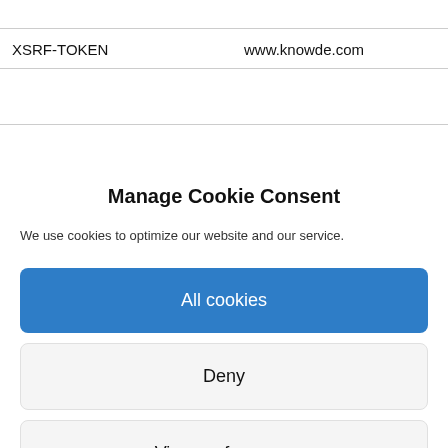|  |  |
| --- | --- |
| XSRF-TOKEN | www.knowde.com |
Manage Cookie Consent
We use cookies to optimize our website and our service.
All cookies
Deny
View preferences